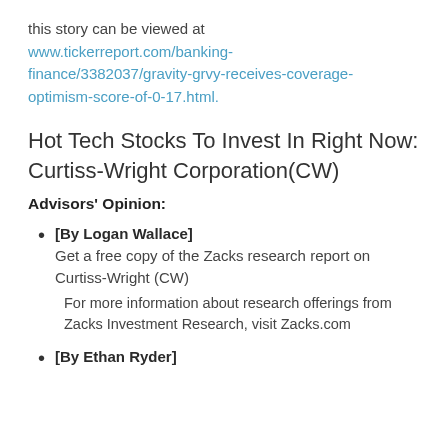this story can be viewed at www.tickerreport.com/banking-finance/3382037/gravity-grvy-receives-coverage-optimism-score-of-0-17.html.
Hot Tech Stocks To Invest In Right Now: Curtiss-Wright Corporation(CW)
Advisors' Opinion:
[By Logan Wallace] Get a free copy of the Zacks research report on Curtiss-Wright (CW)
For more information about research offerings from Zacks Investment Research, visit Zacks.com
[By Ethan Ryder]